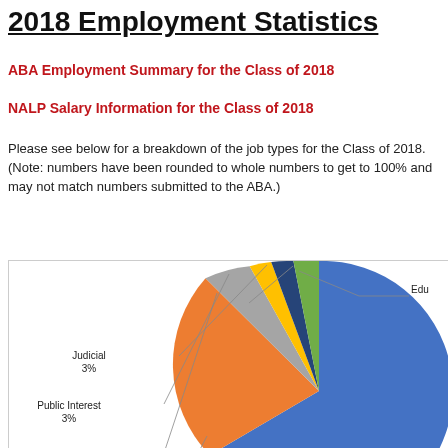2018 Employment Statistics
ABA Employment Summary for the Class of 2018
NALP Salary Information for the Class of 2018
Please see below for a breakdown of the job types for the Class of 2018. (Note: numbers have been rounded to whole numbers to get to 100% and may not match numbers submitted to the ABA.)
[Figure (pie-chart): 2018 Employment by Job Type]